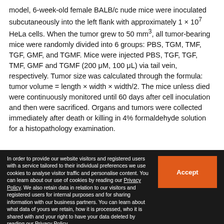model, 6-week-old female BALB/c nude mice were inoculated subcutaneously into the left flank with approximately 1 × 10⁷ HeLa cells. When the tumor grew to 50 mm³, all tumor-bearing mice were randomly divided into 6 groups: PBS, TGM, TMF, TGF, GMF, and TGMF. Mice were injected PBS, TGF, TGF, TMF, GMF and TGMF (200 μM, 100 μL) via tail vein, respectively. Tumor size was calculated through the formula: tumor volume = length × width × width/2. The mice unless died were continuously monitored until 60 days after cell inoculation and then were sacrificed. Organs and tumors were collected immediately after death or killing in 4% formaldehyde solution for a histopathology examination.
In order to provide our website visitors and registered users with a service tailored to their individual preferences we use cookies to analyse visitor traffic and personalise content. You can learn about our use of cookies by reading our Privacy Policy. We also retain data in relation to our visitors and registered users for internal purposes and for sharing information with our business partners. You can learn about what data of yours we retain, how it is processed, who it is shared with and your right to have your data deleted by reading our Privacy Policy. If you agree to our use of cookies and the contents of our Privacy Policy please click 'accept'.